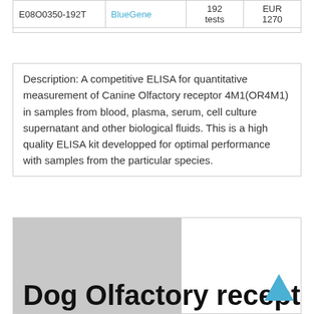|  | Supplier | Size | Price |
| --- | --- | --- | --- |
| E08O0350-192T | BlueGene | 192 tests | EUR 1270 |
Description: A competitive ELISA for quantitative measurement of Canine Olfactory receptor 4M1(OR4M1) in samples from blood, plasma, serum, cell culture supernatant and other biological fluids. This is a high quality ELISA kit developped for optimal performance with samples from the particular species.
[Figure (photo): Product image placeholder for Olfactory receptor4M1(OR4M1) ELISA kit]
Dog Olfactory receptor